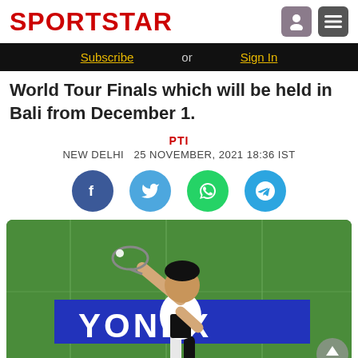SPORTSTAR
Subscribe or Sign In
World Tour Finals which will be held in Bali from December 1.
PTI
NEW DELHI  25 NOVEMBER, 2021 18:36 IST
[Figure (photo): Badminton player hitting a shot on court with YONEX banner in background]
Social sharing icons: Facebook, Twitter, WhatsApp, Telegram